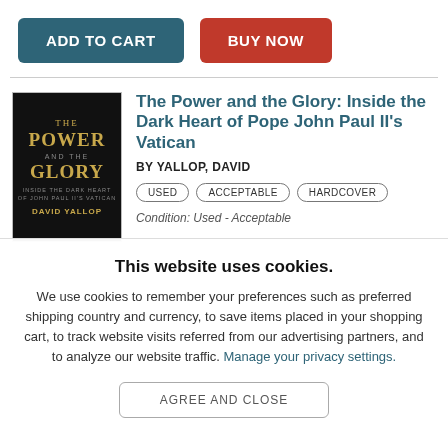ADD TO CART | BUY NOW
[Figure (illustration): Book cover of 'The Power and the Glory: Inside the Dark Heart of Pope John Paul II's Vatican' by David Yallop. Dark background with gold lettering.]
The Power and the Glory: Inside the Dark Heart of Pope John Paul II's Vatican
BY YALLOP, DAVID
USED  ACCEPTABLE  HARDCOVER
Condition: Used - Acceptable
This website uses cookies.
We use cookies to remember your preferences such as preferred shipping country and currency, to save items placed in your shopping cart, to track website visits referred from our advertising partners, and to analyze our website traffic. Manage your privacy settings.
AGREE AND CLOSE